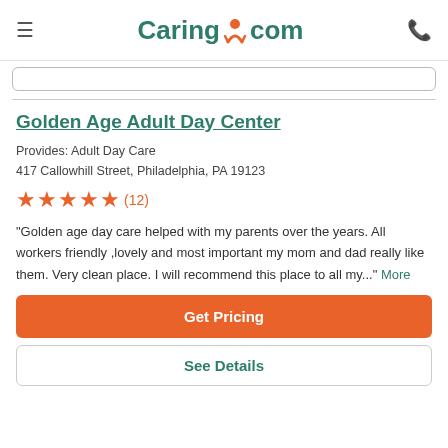Caring.com
Golden Age Adult Day Center
Provides: Adult Day Care
417 Callowhill Street, Philadelphia, PA 19123
★★★★★ (12)
"Golden age day care helped with my parents over the years. All workers friendly ,lovely and most important my mom and dad really like them. Very clean place. I will recommend this place to all my..." More
Get Pricing
See Details